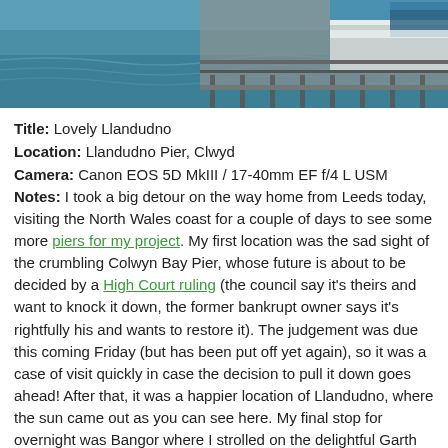[Figure (photo): Aerial/angled photograph of a pier structure over water, with teal-green sea visible and pier building with blue and white colors at top right]
Title: Lovely Llandudno
Location: Llandudno Pier, Clwyd
Camera: Canon EOS 5D MkIII / 17-40mm EF f/4 L USM
Notes: I took a big detour on the way home from Leeds today, visiting the North Wales coast for a couple of days to see some more piers for my project. My first location was the sad sight of the crumbling Colwyn Bay Pier, whose future is about to be decided by a High Court ruling (the council say it's theirs and want to knock it down, the former bankrupt owner says it's rightfully his and wants to restore it). The judgement was due this coming Friday (but has been put off yet again), so it was a case of visit quickly in case the decision to pull it down goes ahead! After that, it was a happier location of Llandudno, where the sun came out as you can see here. My final stop for overnight was Bangor where I strolled on the delightful Garth Pier as the sun went down.